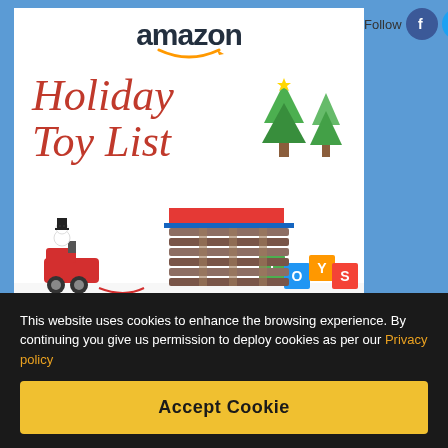[Figure (screenshot): Amazon Holiday Toy List advertisement banner with Amazon logo, italic red 'Holiday Toy List' text, green Christmas trees, Shop now link, and colorful wooden toys (train, building blocks spelling TOYS, log cabin structure)]
Recent Posts
Guide to Hip Flexor Miranda Parks and How to Release It
This website uses cookies to enhance the browsing experience. By continuing you give us permission to deploy cookies as per our Privacy policy
Accept Cookie